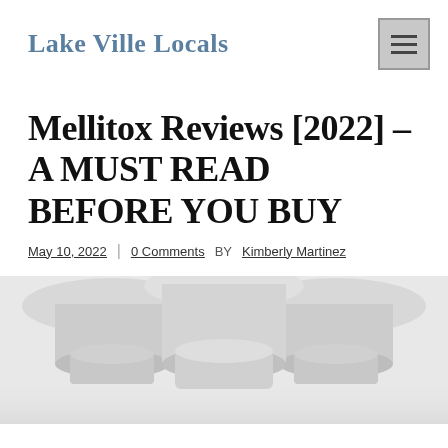Lake Ville Locals
Mellitox Reviews [2022] – A MUST READ BEFORE YOU BUY
May 10, 2022  |  0 Comments  BY Kimberly Martinez
[Figure (photo): Three white supplement/pill bottles viewed from above, showing tops and caps on a light grey/white background.]